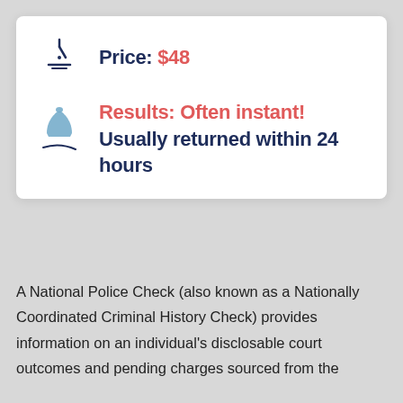Price: $48
Results: Often instant! Usually returned within 24 hours
A National Police Check (also known as a Nationally Coordinated Criminal History Check) provides information on an individual's disclosable court outcomes and pending charges sourced from the